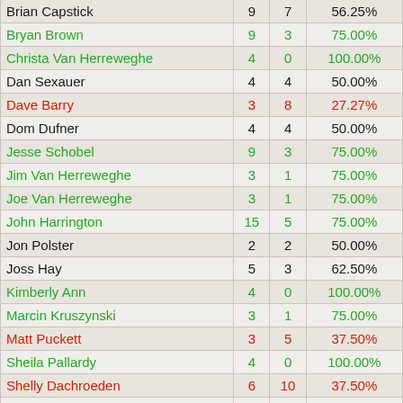| Name | W | L | Pct |
| --- | --- | --- | --- |
| Brian Capstick | 9 | 7 | 56.25% |
| Bryan Brown | 9 | 3 | 75.00% |
| Christa Van Herreweghe | 4 | 0 | 100.00% |
| Dan Sexauer | 4 | 4 | 50.00% |
| Dave Barry | 3 | 8 | 27.27% |
| Dom Dufner | 4 | 4 | 50.00% |
| Jesse Schobel | 9 | 3 | 75.00% |
| Jim Van Herreweghe | 3 | 1 | 75.00% |
| Joe Van Herreweghe | 3 | 1 | 75.00% |
| John Harrington | 15 | 5 | 75.00% |
| Jon Polster | 2 | 2 | 50.00% |
| Joss Hay | 5 | 3 | 62.50% |
| Kimberly Ann | 4 | 0 | 100.00% |
| Marcin Kruszynski | 3 | 1 | 75.00% |
| Matt Puckett | 3 | 5 | 37.50% |
| Sheila Pallardy | 4 | 0 | 100.00% |
| Shelly Dachroeden | 6 | 10 | 37.50% |
| Steve "Doc" Dachroeden | 3 | 5 | 37.50% |
| Steve Fredericks | 2 | 2 | 50.00% |
| Steve Rolsing | 1 | 3 | 25.00% |
| (truncated) | 4 | 0 | 100.00% |